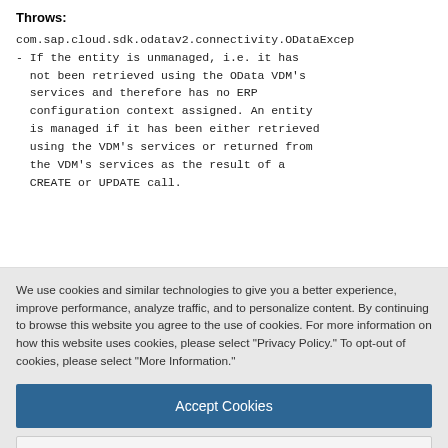Throws:
com.sap.cloud.sdk.odatav2.connectivity.ODataExcep
- If the entity is unmanaged, i.e. it has not been retrieved using the OData VDM's services and therefore has no ERP configuration context assigned. An entity is managed if it has been either retrieved using the VDM's services or returned from the VDM's services as the result of a CREATE or UPDATE call.
We use cookies and similar technologies to give you a better experience, improve performance, analyze traffic, and to personalize content. By continuing to browse this website you agree to the use of cookies. For more information on how this website uses cookies, please select "Privacy Policy." To opt-out of cookies, please select "More Information."
Accept Cookies
More Information
Privacy Policy | Powered by: TrustArc
If the navigation property for an entity